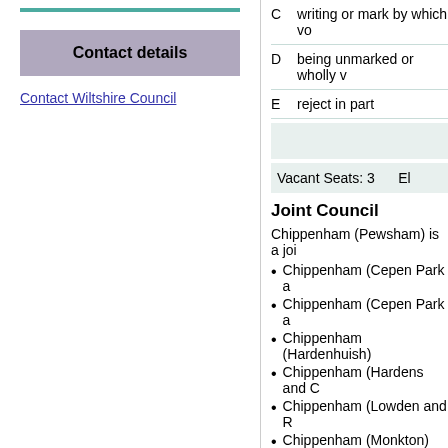Contact details
Contact Wiltshire Council
C   writing or mark by which vo
D   being unmarked or wholly v
E   reject in part
Vacant Seats: 3    El
Joint Council
Chippenham (Pewsham) is a joi
Chippenham (Cepen Park a
Chippenham (Cepen Park a
Chippenham (Hardenhuish)
Chippenham (Hardens and C
Chippenham (Lowden and R
Chippenham (Monkton)
Chippenham (Pewsham)
Chippenham (Sheldon)
Documents